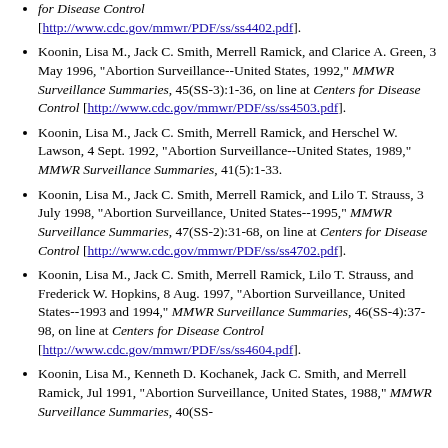for Disease Control [http://www.cdc.gov/mmwr/PDF/ss/ss4402.pdf].
Koonin, Lisa M., Jack C. Smith, Merrell Ramick, and Clarice A. Green, 3 May 1996, "Abortion Surveillance--United States, 1992," MMWR Surveillance Summaries, 45(SS-3):1-36, on line at Centers for Disease Control [http://www.cdc.gov/mmwr/PDF/ss/ss4503.pdf].
Koonin, Lisa M., Jack C. Smith, Merrell Ramick, and Herschel W. Lawson, 4 Sept. 1992, "Abortion Surveillance--United States, 1989," MMWR Surveillance Summaries, 41(5):1-33.
Koonin, Lisa M., Jack C. Smith, Merrell Ramick, and Lilo T. Strauss, 3 July 1998, "Abortion Surveillance, United States--1995," MMWR Surveillance Summaries, 47(SS-2):31-68, on line at Centers for Disease Control [http://www.cdc.gov/mmwr/PDF/ss/ss4702.pdf].
Koonin, Lisa M., Jack C. Smith, Merrell Ramick, Lilo T. Strauss, and Frederick W. Hopkins, 8 Aug. 1997, "Abortion Surveillance, United States--1993 and 1994," MMWR Surveillance Summaries, 46(SS-4):37-98, on line at Centers for Disease Control [http://www.cdc.gov/mmwr/PDF/ss/ss4604.pdf].
Koonin, Lisa M., Kenneth D. Kochanek, Jack C. Smith, and Merrell Ramick, Jul 1991, "Abortion Surveillance, United States, 1988," MMWR Surveillance Summaries, 40(SS-